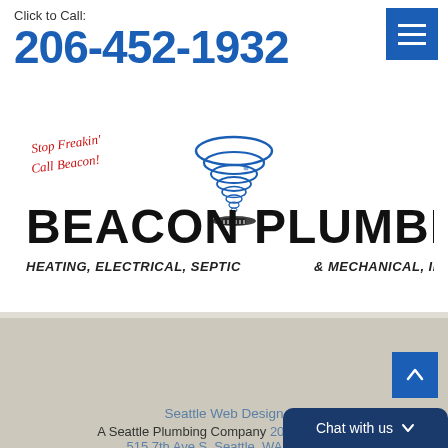Click to Call:
206-452-1932
[Figure (logo): Beacon Plumbing logo with tornado graphic and tagline 'Stop Freakin Call Beacon!' in red cursive, with 'BEACON PLUMBING HEATING, ELECTRICAL, SEPTIC & MECHANICAL, INC.' in bold black text and blue tornado illustration]
[Figure (logo): iLocal logo in white box: italic red 'i' + bold dark blue 'Local', with red tagline 'GET FOUND • LEAD DIGITAL']
Seattle Web Design
A Seattle Plumbing Company 206-452-1932
515 7th Ave S, Seattle, WA 98104